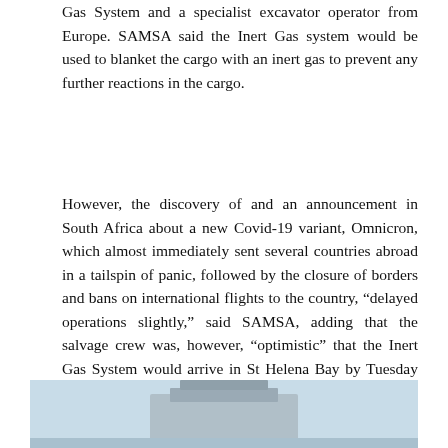Gas System and a specialist excavator operator from Europe. SAMSA said the Inert Gas system would be used to blanket the cargo with an inert gas to prevent any further reactions in the cargo.
However, the discovery of and an announcement in South Africa about a new Covid-19 variant, Omnicron, which almost immediately sent several countries abroad in a tailspin of panic, followed by the closure of borders and bans on international flights to the country, “delayed operations slightly,” said SAMSA, adding that the salvage crew was, however, “optimistic” that the Inert Gas System would arrive in St Helena Bay by Tuesday next week (07 December 2021).
[Figure (photo): Partial view of a ship or vessel structure at the bottom of the page, showing a light blue/grey background with what appears to be the top of a ship hull or deck structure.]